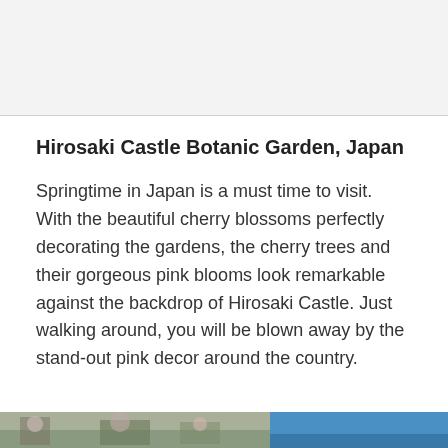Hirosaki Castle Botanic Garden, Japan
Springtime in Japan is a must time to visit. With the beautiful cherry blossoms perfectly decorating the gardens, the cherry trees and their gorgeous pink blooms look remarkable against the backdrop of Hirosaki Castle. Just walking around, you will be blown away by the stand-out pink decor around the country.
[Figure (photo): Two side-by-side photographs at the bottom of the page: left shows cherry blossom trees and garden scene, right shows a blue-sky scene.]